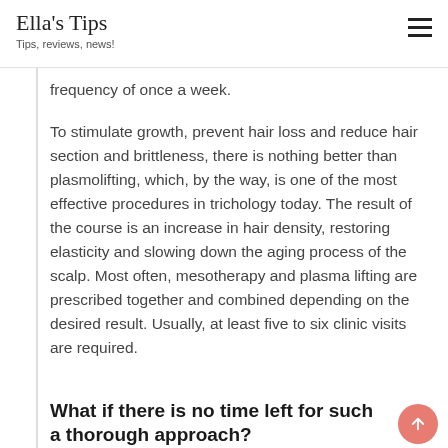Ella's Tips
Tips, reviews, news!
frequency of once a week.
To stimulate growth, prevent hair loss and reduce hair section and brittleness, there is nothing better than plasmolifting, which, by the way, is one of the most effective procedures in trichology today. The result of the course is an increase in hair density, restoring elasticity and slowing down the aging process of the scalp. Most often, mesotherapy and plasma lifting are prescribed together and combined depending on the desired result. Usually, at least five to six clinic visits are required.
What if there is no time left for such a thorough approach?